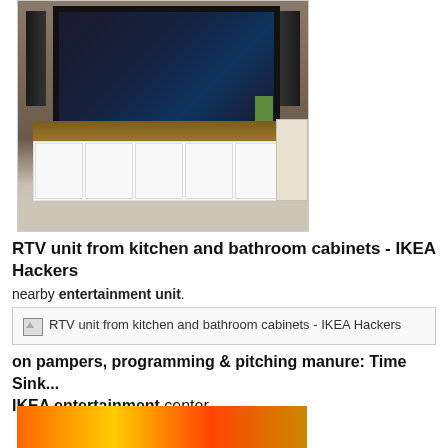[Figure (photo): Living room with wall-mounted flat screen TV, tall black floor speakers on both sides, a wooden TV stand/entertainment unit with white cabinet doors below, a soundbar, decorative items, and yellow flowers in a vase. Beige/tan walls and carpet.]
RTV unit from kitchen and bathroom cabinets - IKEA Hackers
nearby entertainment unit.
[Figure (photo): Broken image placeholder showing: RTV unit from kitchen and bathroom cabinets - IKEA Hackers]
on pampers, programming & pitching manure: Time Sink...
IKEA entertainment center
[Figure (photo): Partial bottom image showing orange and yellow gradient colors, bottom of the page]